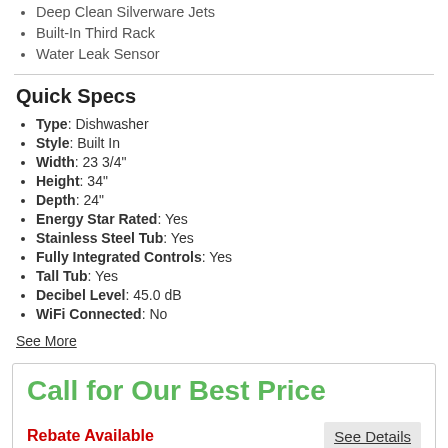Deep Clean Silverware Jets
Built-In Third Rack
Water Leak Sensor
Quick Specs
Type: Dishwasher
Style: Built In
Width: 23 3/4"
Height: 34"
Depth: 24"
Energy Star Rated: Yes
Stainless Steel Tub: Yes
Fully Integrated Controls: Yes
Tall Tub: Yes
Decibel Level: 45.0 dB
WiFi Connected: No
See More
Call for Our Best Price
Rebate Available
See Details